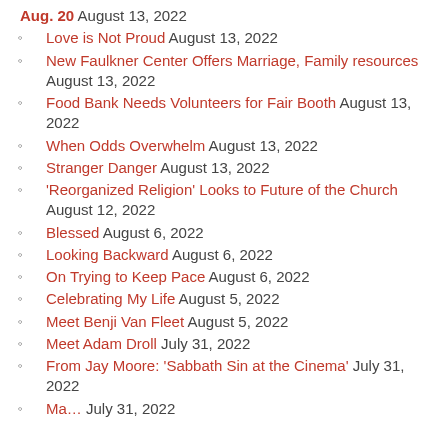Aug. 20 August 13, 2022
Love is Not Proud August 13, 2022
New Faulkner Center Offers Marriage, Family resources August 13, 2022
Food Bank Needs Volunteers for Fair Booth August 13, 2022
When Odds Overwhelm August 13, 2022
Stranger Danger August 13, 2022
'Reorganized Religion' Looks to Future of the Church August 12, 2022
Blessed August 6, 2022
Looking Backward August 6, 2022
On Trying to Keep Pace August 6, 2022
Celebrating My Life August 5, 2022
Meet Benji Van Fleet August 5, 2022
Meet Adam Droll July 31, 2022
From Jay Moore: 'Sabbath Sin at the Cinema' July 31, 2022
Ma... July 31, 2022